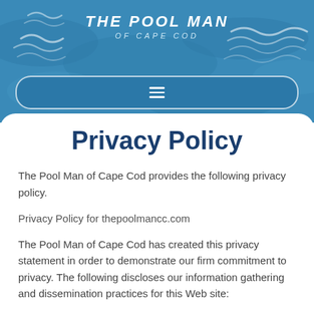[Figure (logo): The Pool Man of Cape Cod logo with wave patterns on blue background header]
Privacy Policy
The Pool Man of Cape Cod provides the following privacy policy.
Privacy Policy for thepoolmancc.com
The Pool Man of Cape Cod has created this privacy statement in order to demonstrate our firm commitment to privacy. The following discloses our information gathering and dissemination practices for this Web site: